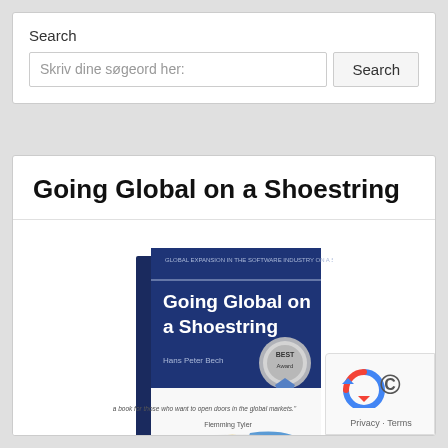Search
Skriv dine søgeord her:
Going Global on a Shoestring
[Figure (photo): Book cover of 'Going Global on a Shoestring' showing a dark blue upper half with book title and author Hans Peter Bech, a Best Award medallion, and a lower white half with a colorful world map and illustrated business people figures. The book is displayed at a slight angle.]
[Figure (logo): Google reCAPTCHA badge with circular arrow logo and 'Privacy - Terms' text]